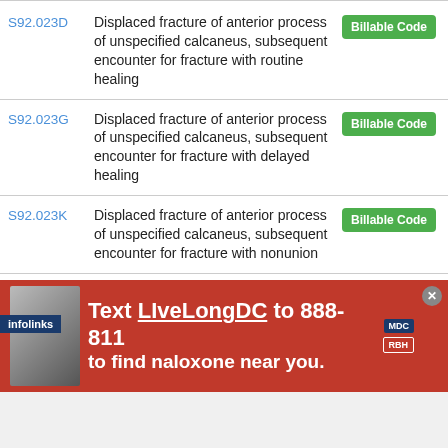S92.023D - Displaced fracture of anterior process of unspecified calcaneus, subsequent encounter for fracture with routine healing - Billable Code
S92.023G - Displaced fracture of anterior process of unspecified calcaneus, subsequent encounter for fracture with delayed healing - Billable Code
S92.023K - Displaced fracture of anterior process of unspecified calcaneus, subsequent encounter for fracture with nonunion - Billable Code
S92.023P - Displaced fracture of anterior process of unspecified calcaneus, subsequent encounter for fracture - Billable Code
[Figure (infographic): Advertisement banner: Text LiveLongDC to 888-811 to find naloxone near you. Red background with logos.]